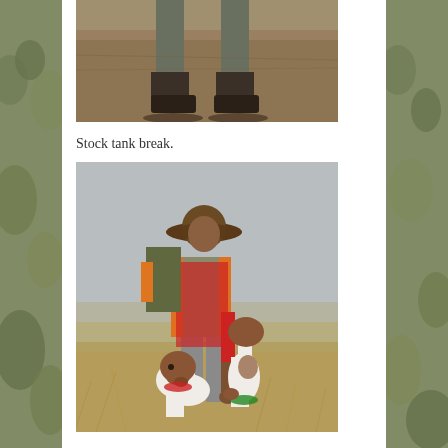[Figure (photo): Top portion of a photo showing boots/legs of a person standing on dry dirt ground]
Stock tank break.
[Figure (photo): A hunter wearing a cowboy hat, red long-sleeve shirt, hunting vest with orange trim, and a backpack, bending down to interact with two hunting dogs (pointing breed with brown and white markings with red and green bandanas) in a dry grassland setting]